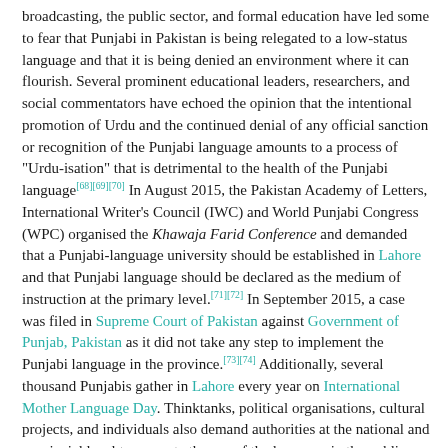broadcasting, the public sector, and formal education have led some to fear that Punjabi in Pakistan is being relegated to a low-status language and that it is being denied an environment where it can flourish. Several prominent educational leaders, researchers, and social commentators have echoed the opinion that the intentional promotion of Urdu and the continued denial of any official sanction or recognition of the Punjabi language amounts to a process of "Urdu-isation" that is detrimental to the health of the Punjabi language[68][69][70] In August 2015, the Pakistan Academy of Letters, International Writer's Council (IWC) and World Punjabi Congress (WPC) organised the Khawaja Farid Conference and demanded that a Punjabi-language university should be established in Lahore and that Punjabi language should be declared as the medium of instruction at the primary level.[71][72] In September 2015, a case was filed in Supreme Court of Pakistan against Government of Punjab, Pakistan as it did not take any step to implement the Punjabi language in the province.[73][74] Additionally, several thousand Punjabis gather in Lahore every year on International Mother Language Day. Thinktanks, political organisations, cultural projects, and individuals also demand authorities at the national and provincial level to promote the use of the language in the public and official spheres.[75][76][77]